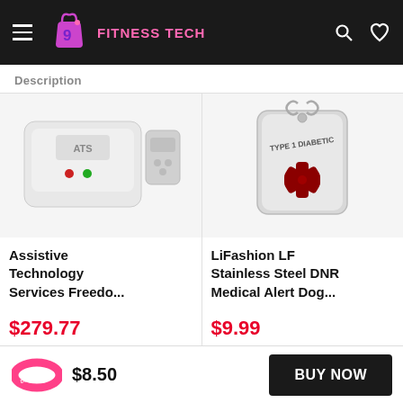FITNESS TECH
Description
[Figure (photo): White assistive technology device with remote control - Assistive Technology Services Freedom product]
Assistive Technology Services Freedo...
$279.77
[Figure (photo): Stainless steel dog tag with medical alert symbol and TYPE 1 DIABETIC engraved - LiFashion LF product]
LiFashion LF Stainless Steel DNR Medical Alert Dog...
$9.99
[Figure (photo): Pink silicone wristband with Do Not Resuscitate text]
$8.50
BUY NOW